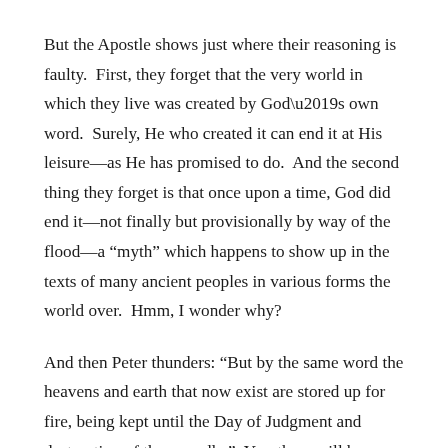But the Apostle shows just where their reasoning is faulty. First, they forget that the very world in which they live was created by God’s own word. Surely, He who created it can end it at His leisure—as He has promised to do. And the second thing they forget is that once upon a time, God did end it—not finally but provisionally by way of the flood—a “myth” which happens to show up in the texts of many ancient peoples in various forms the world over. Hmm, I wonder why?
And then Peter thunders: “But by the same word the heavens and earth that now exist are stored up for fire, being kept until the Day of Judgment and destruction of the ungodly.” Yes, there will be an